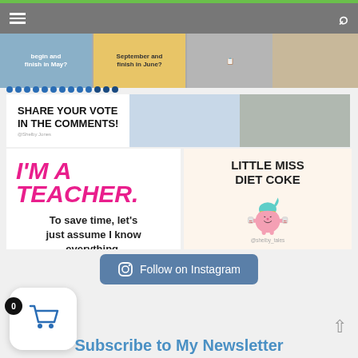[Figure (screenshot): Website navigation bar with hamburger menu and search icon on gray background with green top border]
[Figure (screenshot): Top strip with educational worksheet cards and handwriting image]
SHARE YOUR VOTE IN THE COMMENTS!
[Figure (illustration): I'M A TEACHER. To save time, let's just assume I know everything. - Appletastic Learning]
[Figure (illustration): Little Miss Diet Coke - cartoon pink character holding Diet Coke cans]
Follow on Instagram
0
[Figure (other): Shopping cart icon in white rounded box]
Subscribe to My Newsletter